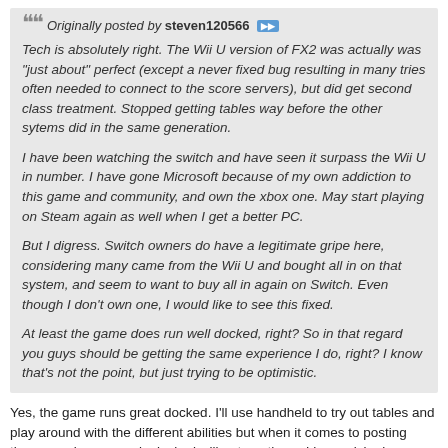Originally posted by steven120566 [arrow icon]
Tech is absolutely right. The Wii U version of FX2 was actually was "just about" perfect (except a never fixed bug resulting in many tries often needed to connect to the score servers), but did get second class treatment. Stopped getting tables way before the other sytems did in the same generation.

I have been watching the switch and have seen it surpass the Wii U in number. I have gone Microsoft because of my own addiction to this game and community, and own the xbox one. May start playing on Steam again as well when I get a better PC.

But I digress. Switch owners do have a legitimate gripe here, considering many came from the Wii U and bought all in on that system, and seem to want to buy all in again on Switch. Even though I don't own one, I would like to see this fixed.

At least the game does run well docked, right? So in that regard you guys should be getting the same experience I do, right? I know that's not the point, but just trying to be optimistic.
Yes, the game runs great docked. I'll use handheld to try out tables and play around with the different abilities but when it comes to posting those good scores only docked will get me there. I have picked up a number one with the combination of both docked and handheld though so it's not a total loss.
Sad thing is though it doesn't run much better then the 3ds version in handheld mode. Looks better yes but looks should be second to frame rate for a game like this.